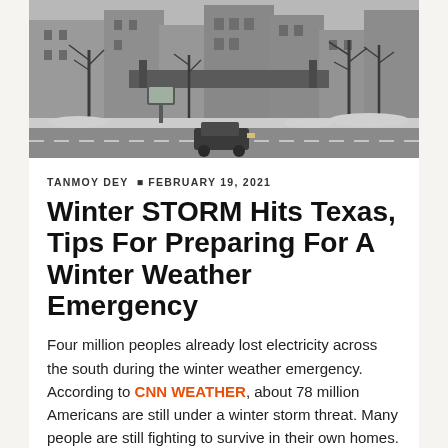[Figure (photo): Black and white winter street scene with snow on the ground, bare trees, a car on a road, buildings in the background, and a pedestrian crossing sign visible.]
TANMOY DEY  ■  FEBRUARY 19, 2021
Winter STORM Hits Texas, Tips For Preparing For A Winter Weather Emergency
Four million peoples already lost electricity across the south during the winter weather emergency. According to CNN WEATHER, about 78 million Americans are still under a winter storm threat. Many people are still fighting to survive in their own homes. Meanwhile, freezing temperatures continue to burst pipe across the state